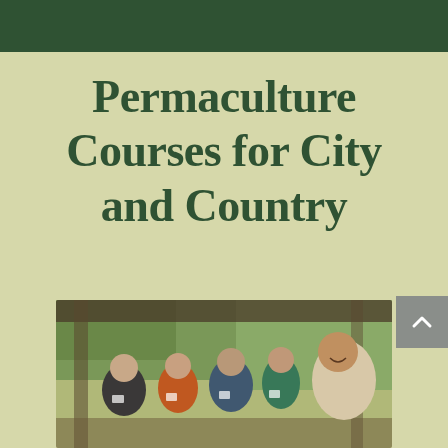Permaculture Courses for City and Country
[Figure (photo): Group of people gathered on a porch or covered outdoor area, appearing to be at a permaculture course or event. Several people standing and conversing, one person on the right side smiling prominently.]